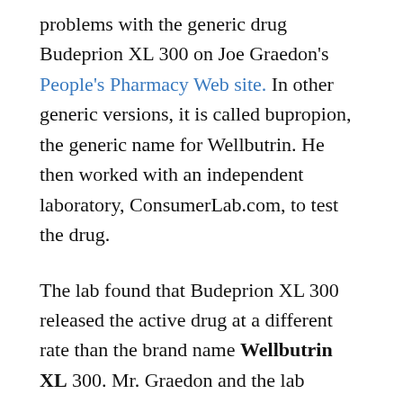problems with the generic drug Budeprion XL 300 on Joe Graedon's People's Pharmacy Web site. In other generic versions, it is called bupropion, the generic name for Wellbutrin. He then worked with an independent laboratory, ConsumerLab.com, to test the drug.
The lab found that Budeprion XL 300 released the active drug at a different rate than the brand name Wellbutrin XL 300. Mr. Graedon and the lab conjecture that the different dissolution rates might be to blame for the reported side effects and lower effectiveness of Budeprion.
Kudos to Joe Graedon of The People's Pharmacy for listening to his readers (despite his own...